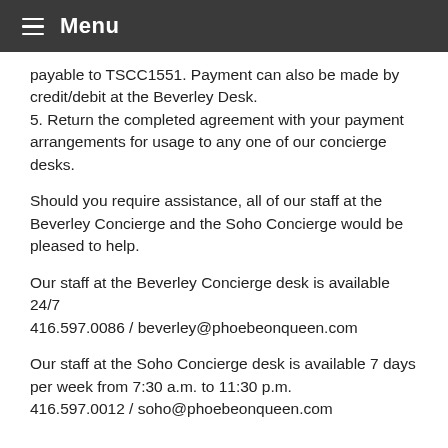Menu
payable to TSCC1551. Payment can also be made by credit/debit at the Beverley Desk.
5. Return the completed agreement with your payment arrangements for usage to any one of our concierge desks.
Should you require assistance, all of our staff at the Beverley Concierge and the Soho Concierge would be pleased to help.
Our staff at the Beverley Concierge desk is available 24/7
416.597.0086 / beverley@phoebeonqueen.com
Our staff at the Soho Concierge desk is available 7 days per week from 7:30 a.m. to 11:30 p.m.
416.597.0012 / soho@phoebeonqueen.com